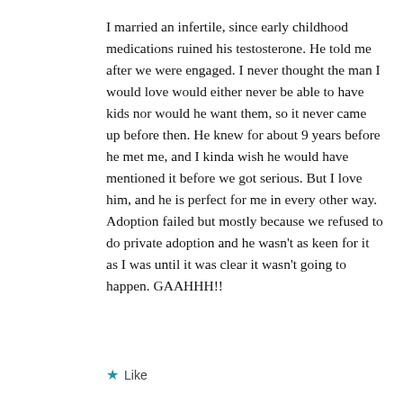I married an infertile, since early childhood medications ruined his testosterone. He told me after we were engaged. I never thought the man I would love would either never be able to have kids nor would he want them, so it never came up before then. He knew for about 9 years before he met me, and I kinda wish he would have mentioned it before we got serious. But I love him, and he is perfect for me in every other way. Adoption failed but mostly because we refused to do private adoption and he wasn't as keen for it as I was until it was clear it wasn't going to happen. GAAHHH!!
Like